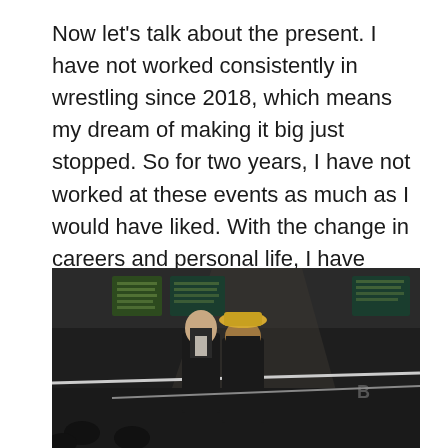Now let's talk about the present. I have not worked consistently in wrestling since 2018, which means my dream of making it big just stopped. So for two years, I have not worked at these events as much as I would have liked. With the change in careers and personal life, I have been limited on what I can commit to daily. Yet, I have found that I really haven't missed it as much as I thought I would.
[Figure (photo): Two men standing inside a wrestling arena near the ring ropes. One man is wearing a black suit and the other is wearing a black outfit with a yellow/straw hat. Championship banners are visible hanging from the rafters in the background. The arena is dimly lit with a spotlight effect.]